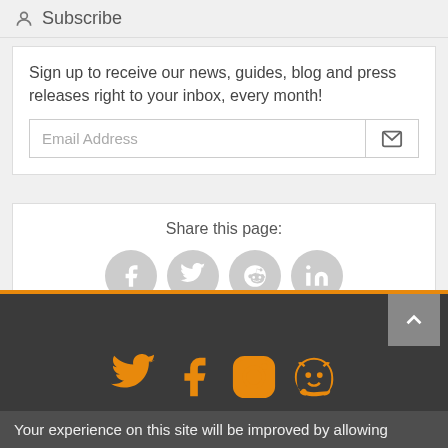Subscribe
Sign up to receive our news, guides, blog and press releases right to your inbox, every month!
Email Address
Share this page:
[Figure (infographic): Four circular grey social share buttons: Facebook, Twitter, Reddit, LinkedIn]
[Figure (infographic): Dark footer with grey back-to-top arrow button and four orange social media icons: Twitter, Facebook, Instagram, GitHub/Gitea]
Your experience on this site will be improved by allowing